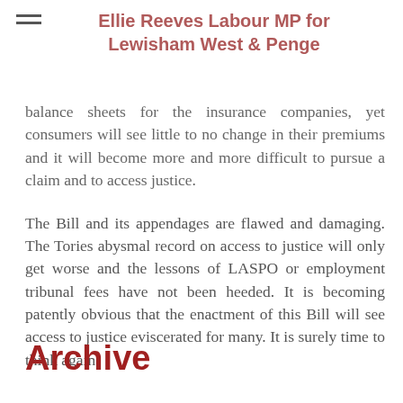Ellie Reeves Labour MP for Lewisham West & Penge
balance sheets for the insurance companies, yet consumers will see little to no change in their premiums and it will become more and more difficult to pursue a claim and to access justice.
The Bill and its appendages are flawed and damaging. The Tories abysmal record on access to justice will only get worse and the lessons of LASPO or employment tribunal fees have not been heeded. It is becoming patently obvious that the enactment of this Bill will see access to justice eviscerated for many. It is surely time to think again.
Archive